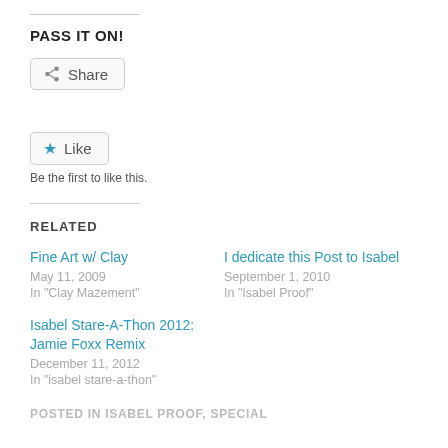PASS IT ON!
Share
Like
Be the first to like this.
RELATED
Fine Art w/ Clay
May 11, 2009
In "Clay Mazement"
I dedicate this Post to Isabel
September 1, 2010
In "Isabel Proof"
Isabel Stare-A-Thon 2012: Jamie Foxx Remix
December 11, 2012
In "isabel stare-a-thon"
POSTED IN ISABEL PROOF, SPECIAL